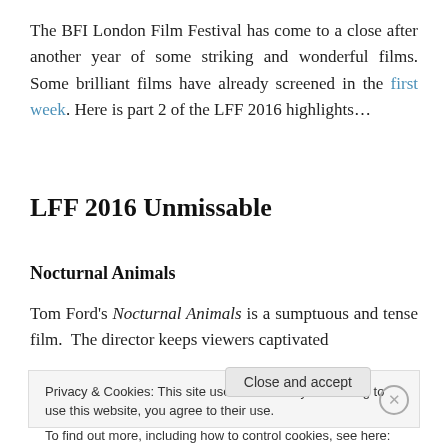The BFI London Film Festival has come to a close after another year of some striking and wonderful films. Some brilliant films have already screened in the first week. Here is part 2 of the LFF 2016 highlights…
LFF 2016 Unmissable
Nocturnal Animals
Tom Ford's Nocturnal Animals is a sumptuous and tense film. The director keeps viewers captivated
Privacy & Cookies: This site uses cookies. By continuing to use this website, you agree to their use.
To find out more, including how to control cookies, see here: Cookie Policy
Close and accept